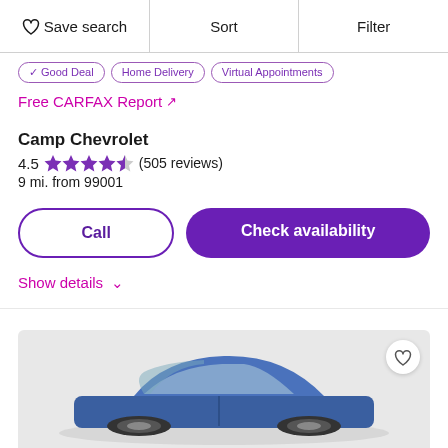Save search  Sort  Filter
Good Deal  Home Delivery  Virtual Appointments
Free CARFAX Report ↗
Camp Chevrolet
4.5 ★★★★½ (505 reviews)
9 mi. from 99001
Call
Check availability
Show details ∨
[Figure (photo): Blue car viewed from above/side angle on gray background]